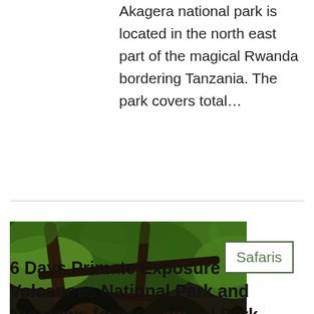Akagera national park is located in the north east part of the magical Rwanda bordering Tanzania. The park covers total...
[Figure (photo): Two chimpanzees clinging to tree branches in a forest, with a white box labeled 'Safaris' overlaid on the right side of the image.]
6 Days Primate Exposure – Volcanoes National Park and Nyungwe forest National Park
Nyungwe forest is probably the